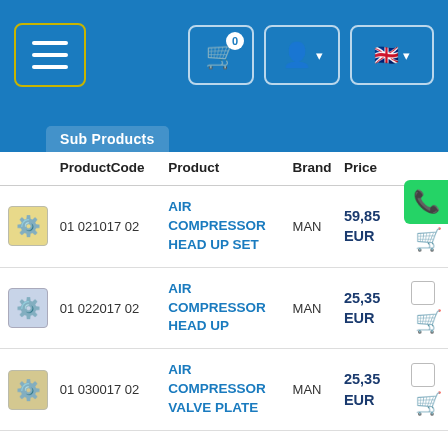Navigation header with menu, cart (0), user, and language (EN) buttons
Sub Products
|  | ProductCode | Product | Brand | Price |
| --- | --- | --- | --- | --- |
| [img] | 01 021017 02 | AIR COMPRESSOR HEAD UP SET | MAN | 59,85 EUR |
| [img] | 01 022017 02 | AIR COMPRESSOR HEAD UP | MAN | 25,35 EUR |
| [img] | 01 030017 02 | AIR COMPRESSOR VALVE PLATE | MAN | 25,35 EUR |